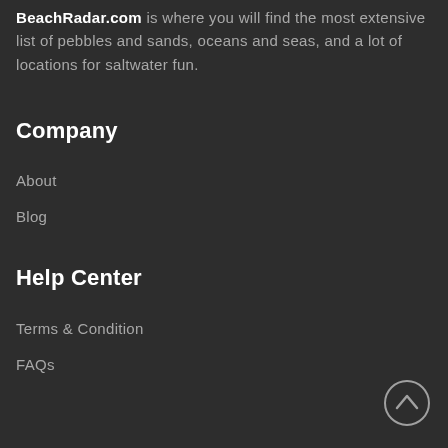BeachRadar.com is where you will find the most extensive list of pebbles and sands, oceans and seas, and a lot of locations for saltwater fun.
Company
About
Blog
Help Center
Terms & Condition
FAQs
[Figure (illustration): Circular scroll-to-top button with an upward-pointing chevron arrow, located in the bottom-right corner]